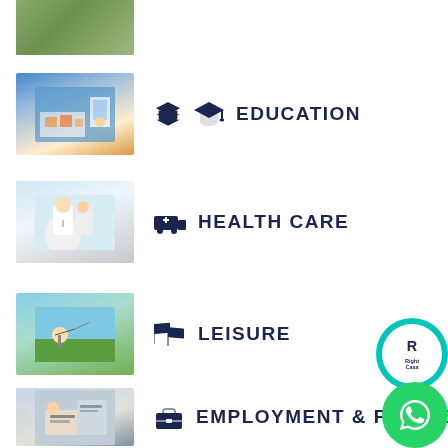[Figure (photo): Partial view of vineyard or outdoor landscape at top of page]
EDUCATION
[Figure (photo): Classroom scene with teacher and students]
HEALTH CARE
[Figure (photo): Doctor in white coat with stethoscope, arms crossed]
LEISURE
[Figure (photo): Person playing golf on a green course]
EMPLOYMENT & FINANCE
[Figure (photo): Person working at desk with documents and keyboard]